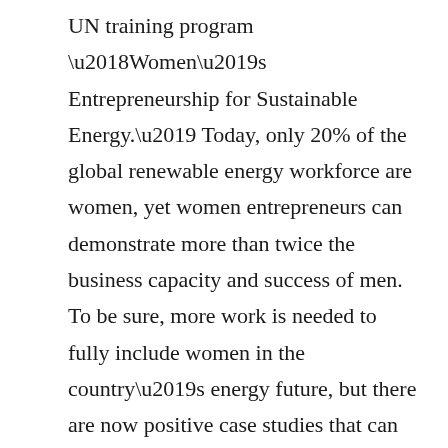UN training program ‘Women’s Entrepreneurship for Sustainable Energy.’ Today, only 20% of the global renewable energy workforce are women, yet women entrepreneurs can demonstrate more than twice the business capacity and success of men. To be sure, more work is needed to fully include women in the country’s energy future, but there are now positive case studies that can serve as a roadmap to replication and scale.
SDG 6: Clean Water and Sanitation
India has 138 million households without access to treated drinking water. Innovative solutions